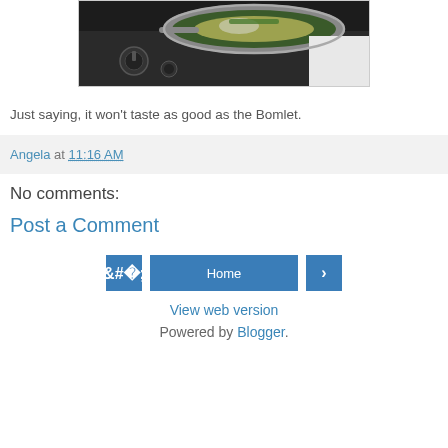[Figure (photo): A frying pan with food (omelette/eggs with greens) on a stovetop with burner knobs visible]
Just saying, it won't taste as good as the Bomlet.
Angela at 11:16 AM
No comments:
Post a Comment
Home
View web version
Powered by Blogger.